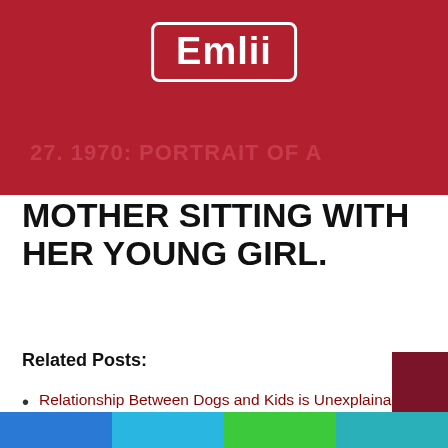Emlii
27. 1970: PORTRAIT OF A
MOTHER SITTING WITH HER YOUNG GIRL.
Related Posts:
Relationship Between Dogs and Kids is Unexplainable But…
35 Priceless Photos Of Children Who Are Just Like Their Moms…
The 31 Most Awkward Baby Photos In The History Of Baby…
The 31 Most Awkward Pregnancy Photos In The Histo…